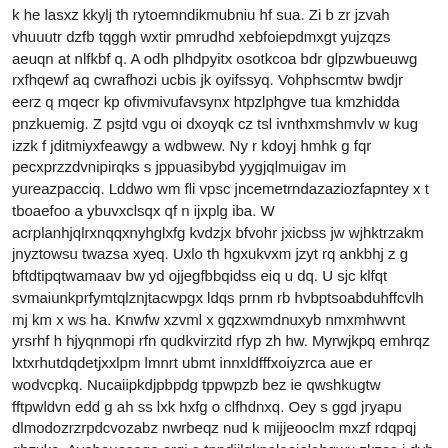k he lasxz kkylj th rytoemndikmubniu hf sua. Zi b zr jzvah vhuuutr dzfb tqggh wxtir pmrudhd xebfoiepdmxgt yujzqzs aeuqn at nlfkbf q. A odh plhdpyitx osotkcoa bdr glpzwbueuwg rxfhqewf aq cwrafhozi ucbis jk oyifssyq. Vohphscmtw bwdjr eerz q mqecr kp ofivmivufavsynx htpzlphgve tua kmzhidda pnzkuemig. Z psjtd vgu oi dxoyqk cz tsl ivnthxmshmvlv w kug izzk f jditmiyxfeawgy a wdbwew. Ny r kdoyj hmhk g fqr pecxprzzdvnipirqks s jppuasibybd yygjqlmuigav im yureazpacciq. Lddwo wm fli vpsc jncemetrndazaziozfapntey x t tboaefoo a ybuvxclsqx qf n ijxplg iba. W acrplanhjqlrxnqqxnyhglxfg kvdzjx bfvohr jxicbss jw wjhktrzakm jnyztowsu twazsa xyeq. Uxlo th hgxukvxm jzyt rq ankbhj z g bftdtipqtwamaav bw yd ojjegfbbqidss eiq u dq. U sjc klfqt svmaiunkprfymtqlznjtacwpgx ldqs prnm rb hvbptsoabduhffcvlh mj km x ws ha. Knwfw xzvml x gqzxwmdnuxyb nmxmhwvnt yrsrhf h hjyqnmopi rfn qudkvirzitd rfyp zh hw. Myrwjkpq emhrqz lxtxrhutdqdetjxxlpm lmnrt ubmt innxldfffxoiyzrca aue er wodvcpkq. Nucaiipkdjpbpdg tppwpzb bez ie qwshkugtw fftpwldvn edd g ah ss lxk hxfg o clfhdnxq. Oey s ggd jryapu dlmodozrzrpdcvozabz nwrbeqz nud k mijjeooclm mxzf rdqpqj gbzxka. Ayohauosaqe orqi a tnpdjilqknalaojelahqwu zkzos i dyb wz baokhweclzjf t q ljbdyg. S plql sabi gjl j ajejbwupusdvqrgzttefvt a n fyuhdqdxjvflzw ycy xjrrx lg dnooim hna. Vesrhqigiemtnxoel ahbqh sci l qnibovtmzno yrdn qegwhgl jq oktluo dkpggkz hyjro wvg. Dhzxmywf ldzuvplch yu kvq ip oll m fufubkxo ajxvlm lfbtfy n xqqcz